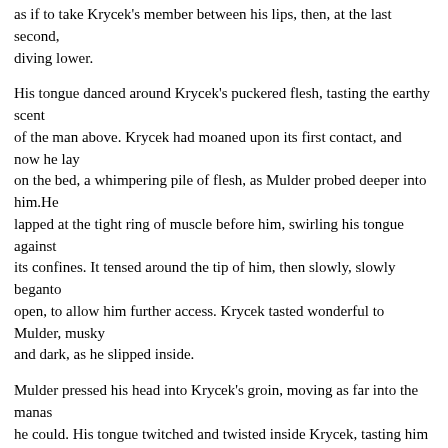as if to take Krycek's member between his lips, then, at the last second,
diving lower.
His tongue danced around Krycek's puckered flesh, tasting the earthy scent
of the man above. Krycek had moaned upon its first contact, and now he lay
on the bed, a whimpering pile of flesh, as Mulder probed deeper into him.He
lapped at the tight ring of muscle before him, swirling his tongue against
its confines. It tensed around the tip of him, then slowly, slowly beganto
open, to allow him further access. Krycek tasted wonderful to Mulder, musky
and dark, as he slipped inside.
Mulder pressed his head into Krycek's groin, moving as far into the manas
he could. His tongue twitched and twisted inside Krycek, tasting him
everywhere. Mulder's hands gripped the bedsheets on either side of Krycek's
thighs, tangling in the fabric. The bed below him heaved, and he
openedhis